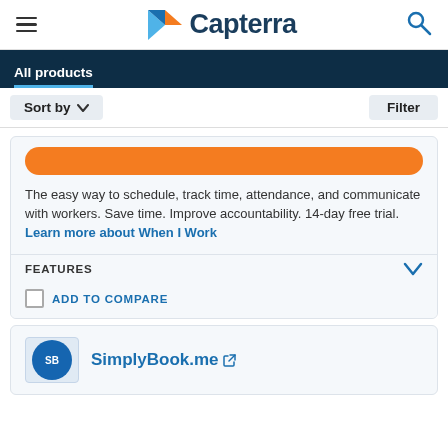Capterra
All products
Sort by   Filter
The easy way to schedule, track time, attendance, and communicate with workers. Save time. Improve accountability. 14-day free trial. Learn more about When I Work
FEATURES
ADD TO COMPARE
SimplyBook.me